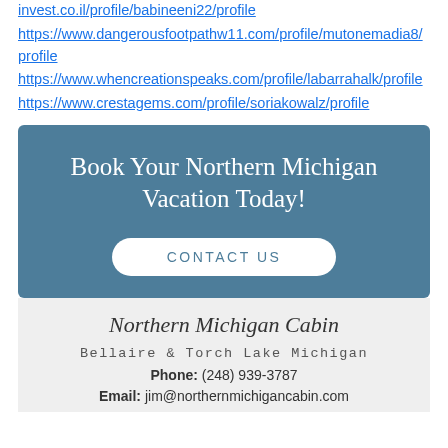invest.co.il/profile/babineeni22/profile
https://www.dangerousfootpathw11.com/profile/mutonemadia8/profile
https://www.whencreationspeaks.com/profile/labarrahalk/profile
https://www.crestagems.com/profile/soriakowalz/profile
[Figure (infographic): Blue-grey banner with white handwritten-style text 'Book Your Northern Michigan Vacation Today!' and a white rounded button labeled 'CONTACT US']
Northern Michigan Cabin
Bellaire & Torch Lake Michigan
Phone: (248) 939-3787
Email: jim@northernmichigancabin.com